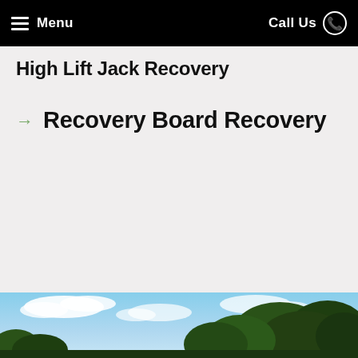Menu  |  Call Us
High Lift Jack Recovery
Recovery Board Recovery
[Figure (photo): Outdoor scene with trees and blue sky with clouds, visible at the bottom of the page]